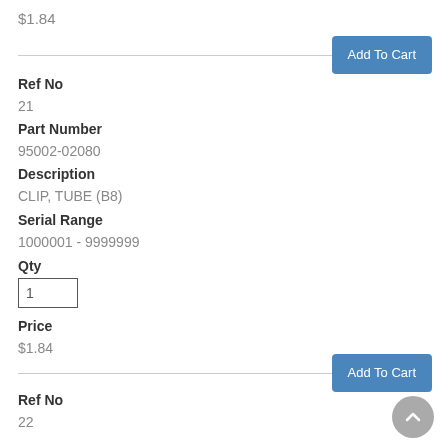$1.84
[Figure (other): Add To Cart button (top)]
Ref No
21
Part Number
95002-02080
Description
CLIP, TUBE (B8)
Serial Range
1000001 - 9999999
Qty
Price
$1.84
[Figure (other): Add To Cart button (bottom)]
Ref No
22